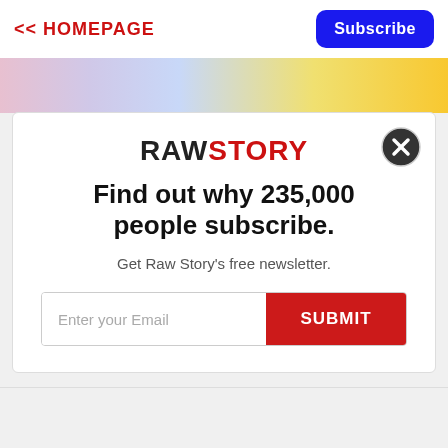<< HOMEPAGE
Subscribe
[Figure (photo): Colorful fabric banner strip in pink, lavender, blue, yellow, and orange tones]
[Figure (logo): RAW STORY logo — RAW in black, STORY in red, bold sans-serif]
Find out why 235,000 people subscribe.
Get Raw Story's free newsletter.
Enter your Email
SUBMIT